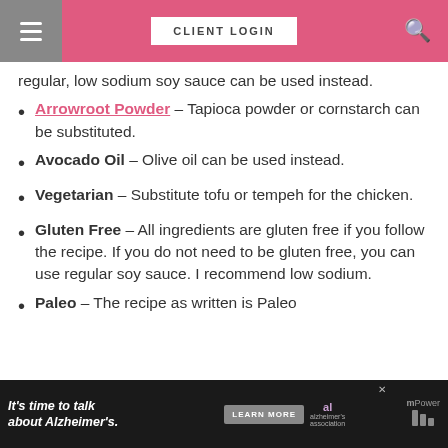CLIENT LOGIN
regular, low sodium soy sauce can be used instead.
Arrowroot Powder – Tapioca powder or cornstarch can be substituted.
Avocado Oil – Olive oil can be used instead.
Vegetarian – Substitute tofu or tempeh for the chicken.
Gluten Free – All ingredients are gluten free if you follow the recipe. If you do not need to be gluten free, you can use regular soy sauce. I recommend low sodium.
Paleo – The recipe as written is Paleo
It's time to talk about Alzheimer's. LEARN MORE